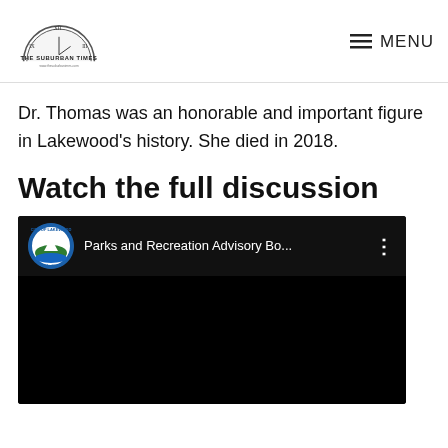THE SUBURBAN TIMES — MENU
Dr. Thomas was an honorable and important figure in Lakewood's history. She died in 2018.
Watch the full discussion
[Figure (screenshot): Embedded YouTube video player showing a Parks and Recreation Advisory Board meeting video, with City of Lakewood logo as channel icon, black video area below the title bar.]